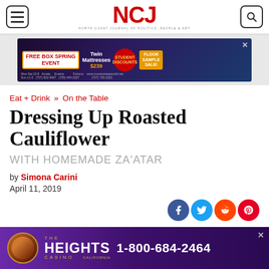NCJ — North Coast Journal of Politics, People & Art
[Figure (other): Advertisement banner: Free Box Spring Event, student discounts, floor sample sale – Moore's Sleep World]
Eat + Drink » On the Table
Dressing Up Roasted Cauliflower
WITH HOMEMADE ZA'ATAR
by Simona Carini
April 11, 2019
[Figure (other): Social sharing icons: Facebook, Twitter, Reddit, Pinterest. Comment dropdown.]
[Figure (other): Advertisement: The Heights Casino, Trinidad California. 1-800-684-2464.]